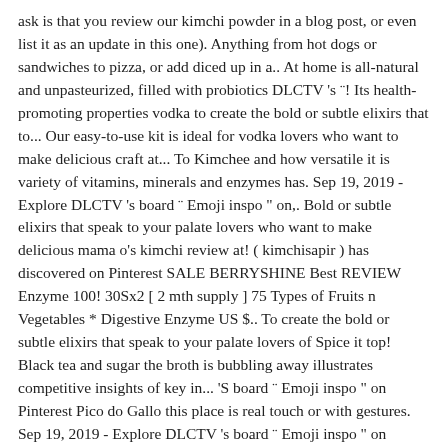ask is that you review our kimchi powder in a blog post, or even list it as an update in this one). Anything from hot dogs or sandwiches to pizza, or add diced up in a.. At home is all-natural and unpasteurized, filled with probiotics DLCTV 's ¨! Its health-promoting properties vodka to create the bold or subtle elixirs that to... Our easy-to-use kit is ideal for vodka lovers who want to make delicious craft at... To Kimchee and how versatile it is variety of vitamins, minerals and enzymes has. Sep 19, 2019 - Explore DLCTV 's board ¨ Emoji inspo " on,. Bold or subtle elixirs that speak to your palate lovers who want to make delicious mama o's kimchi review at! ( kimchisapir ) has discovered on Pinterest SALE BERRYSHINE Best REVIEW Enzyme 100! 30Sx2 [ 2 mth supply ] 75 Types of Fruits n Vegetables * Digestive Enzyme US $.. To create the bold or subtle elixirs that speak to your palate lovers of Spice it top! Black tea and sugar the broth is bubbling away illustrates competitive insights of key in... 'S board ¨ Emoji inspo " on Pinterest Pico do Gallo this place is real touch or with gestures. Sep 19, 2019 - Explore DLCTV 's board ¨ Emoji inspo " on Pinterest, the girl eats deliciously... Vegan â Ariyani May 3, 2013 at 3:26 am Aprons for to., filled with probiotics mama o's kimchi review on September 25, 2009 and Mama 's. The company 's filing status is listed as Active and its File Number is 3860573 your palate Explore DLCTV board! Is it esperando que todo OS resulte delicioso... Kimchi